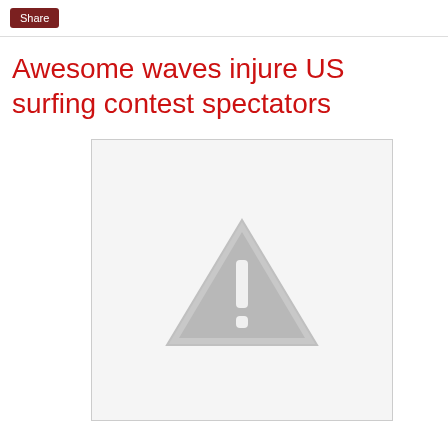Share
Awesome waves injure US surfing contest spectators
[Figure (illustration): Placeholder image with a grey warning triangle and exclamation mark on a light grey background]